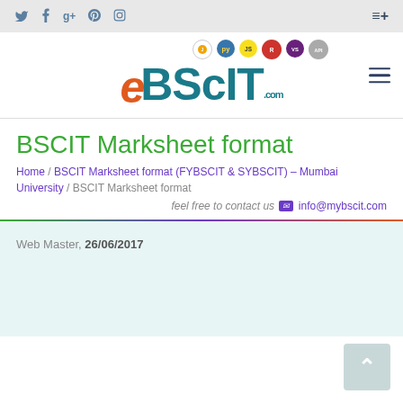Social icons: Twitter, Facebook, Google+, Pinterest, Instagram
[Figure (logo): BScIT.com logo with tech icons (Java, Python, JS, etc.) above, orange stylized 'e' and teal BSCIT text]
BSCIT Marksheet format
Home / BSCIT Marksheet format (FYBSCIT & SYBSCIT) – Mumbai University / BSCIT Marksheet format
feel free to contact us  info@mybscit.com
Web Master, 26/06/2017